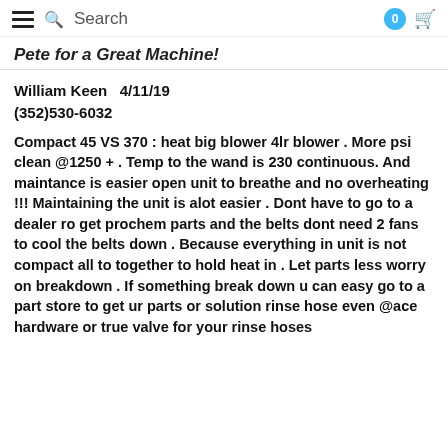Search | 0 (cart)
Pete for a Great Machine!
William Keen   4/11/19
(352)530-6032
Compact 45 VS 370 : heat big blower 4lr blower . More psi clean @1250 + . Temp to the wand is 230 continuous. And maintance is easier open unit to breathe and no overheating !!! Maintaining the unit is alot easier . Dont have to go to a dealer ro get prochem parts and the belts dont need 2 fans to cool the belts down . Because everything in unit is not compact all to together to hold heat in . Let parts less worry on breakdown . If something break down u can easy go to a part store to get ur parts or solution rinse hose even @ace hardware or true valve for your rinse hoses